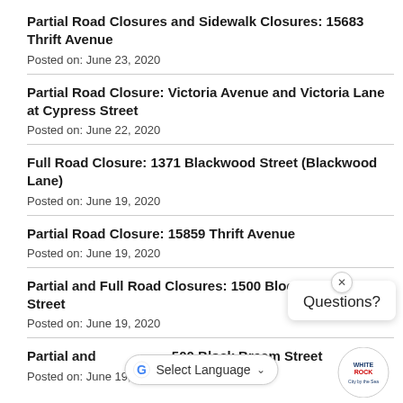Partial Road Closures and Sidewalk Closures: 15683 Thrift Avenue
Posted on: June 23, 2020
Partial Road Closure: Victoria Avenue and Victoria Lane at Cypress Street
Posted on: June 22, 2020
Full Road Closure: 1371 Blackwood Street (Blackwood Lane)
Posted on: June 19, 2020
Partial Road Closure: 15859 Thrift Avenue
Posted on: June 19, 2020
Partial and Full Road Closures: 1500 Block Street
Posted on: June 19, 2020
Partial and 1500 Block Bream Street
Posted on: June 19, 2020